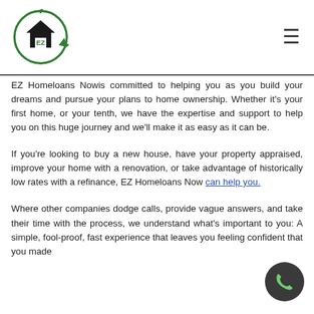EZ Homeloans Now — logo and navigation
EZ Homeloans Nowis committed to helping you as you build your dreams and pursue your plans to home ownership. Whether it's your first home, or your tenth, we have the expertise and support to help you on this huge journey and we'll make it as easy as it can be.
If you're looking to buy a new house, have your property appraised, improve your home with a renovation, or take advantage of historically low rates with a refinance, EZ Homeloans Now can help you.
Where other companies dodge calls, provide vague answers, and take their time with the process, we understand what's important to you: A simple, fool-proof, fast experience that leaves you feeling confident that you made...